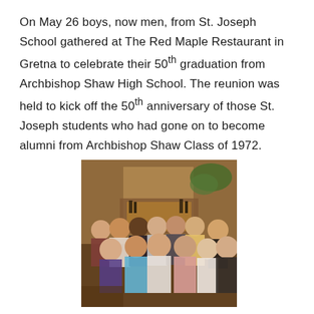On May 26 boys, now men, from St. Joseph School gathered at The Red Maple Restaurant in Gretna to celebrate their 50th graduation from Archbishop Shaw High School. The reunion was held to kick off the 50th anniversary of those St. Joseph students who had gone on to become alumni from Archbishop Shaw Class of 1972.
[Figure (photo): Group photo of approximately 13 men posing together inside The Red Maple Restaurant in Gretna, with a decorative fireplace and greenery visible in the background.]